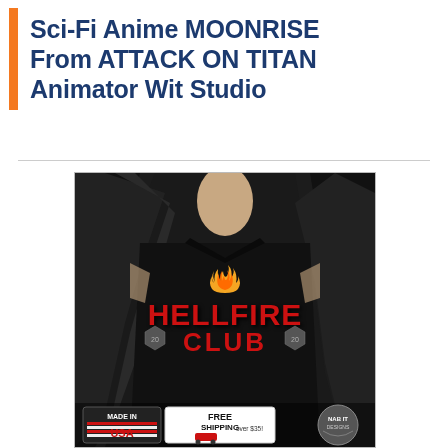Sci-Fi Anime MOONRISE From ATTACK ON TITAN Animator Wit Studio
[Figure (photo): Advertisement photo of a man wearing a black Hellfire Club t-shirt, opening his leather jacket to reveal it. The shirt has red text reading HELLFIRE CLUB with a flame graphic. Bottom of image shows badges: Made in USA, Free Shipping over $35, and Nab It Designs logo.]